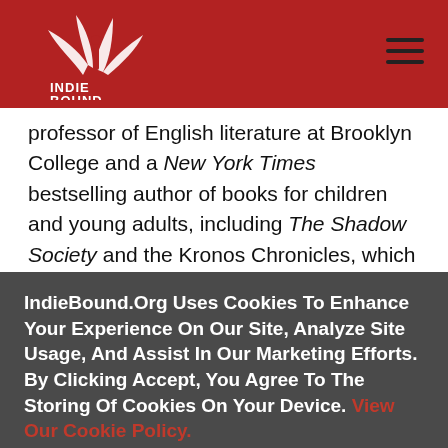[Figure (logo): IndieBound logo — white stylized book/hand graphic on red background with 'INDIE BOUND' text below]
professor of English literature at Brooklyn College and a New York Times bestselling author of books for children and young adults, including The Shadow Society and the Kronos Chronicles, which includes The Cabinet of Wonders. She lives in Brooklyn with her family.
IndieBound.Org Uses Cookies To Enhance Your Experience On Our Site, Analyze Site Usage, And Assist In Our Marketing Efforts. By Clicking Accept, You Agree To The Storing Of Cookies On Your Device. View Our Cookie Policy.
Give me more info
Accept all Cookies